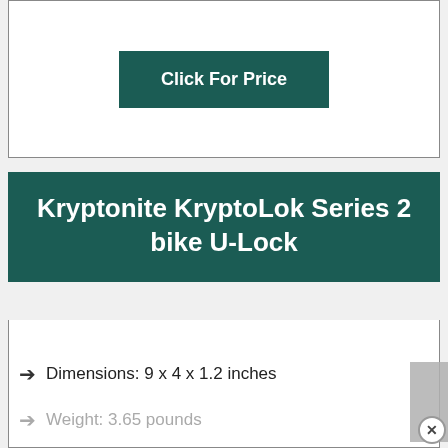[Figure (other): A button labeled 'Click For Price' in white bold text on a dark teal/green background, displayed within a white bordered box]
Kryptonite KryptoLok Series 2 bike U-Lock
Dimensions: 9 x 4 x 1.2 inches
Weight: 3.65 pounds